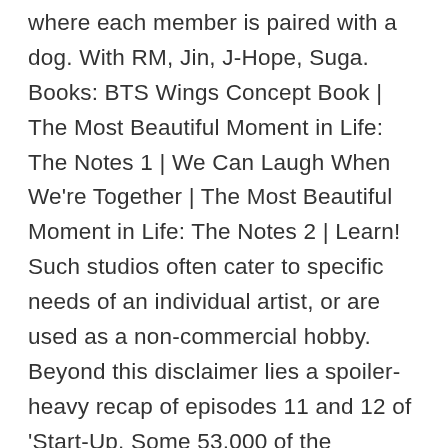where each member is paired with a dog. With RM, Jin, J-Hope, Suga. Books: BTS Wings Concept Book | The Most Beautiful Moment in Life: The Notes 1 | We Can Laugh When We're Together | The Most Beautiful Moment in Life: The Notes 2 | Learn! Such studios often cater to specific needs of an individual artist, or are used as a non-commercial hobby. Beyond this disclaimer lies a spoiler-heavy recap of episodes 11 and 12 of 'Start-Up. Some 53,000 of the agency's workers are now working from home. "The Office" has become such an irreversible part of American pop culture that psychologists have explored why people can't seem to stop bingeing it on Netflix. The 1980 Star Wars sequel, directed by Irvin Kershner, has been in the spotlight throughout 2020 by virtue of anniversary celebrations.. Lauv) (Acoustic Remix), MIC Drop (Steve Aoki Remix) (Feat. BTS aren't the only famous faces who you might come